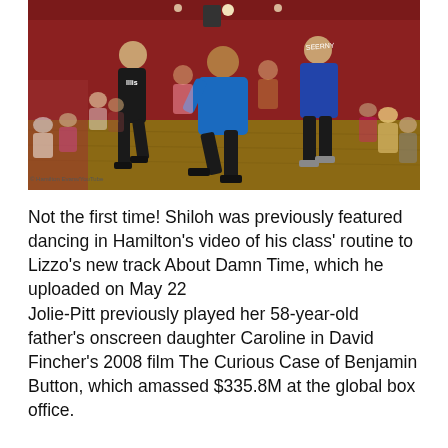[Figure (photo): A dance class scene in a studio with red walls. Three dancers are prominently featured in the foreground — one in black, one in a blue sweatshirt, and one in a blue hoodie on the right. Audience members sit along the walls watching. The studio has wooden floors and studio lighting.]
© Hamilton Evans/YouTube
Not the first time! Shiloh was previously featured dancing in Hamilton's video of his class' routine to Lizzo's new track About Damn Time, which he uploaded on May 22
Jolie-Pitt previously played her 58-year-old father's onscreen daughter Caroline in David Fincher's 2008 film The Curious Case of Benjamin Button, which amassed $335.8M at the global box office.